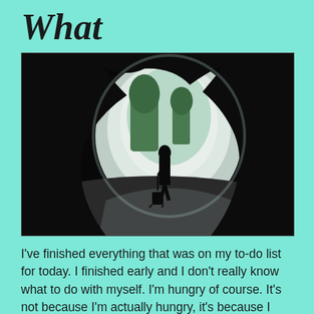What
[Figure (photo): A silhouette of a person with rolling luggage walking through a dark tunnel toward a bright circular opening showing trees and road outside.]
I've finished everything that was on my to-do list for today. I finished early and I don't really know what to do with myself. I'm hungry of course. It's not because I'm actually hungry, it's because I